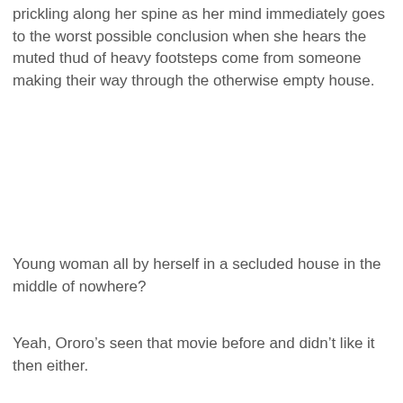prickling along her spine as her mind immediately goes to the worst possible conclusion when she hears the muted thud of heavy footsteps come from someone making their way through the otherwise empty house.
Young woman all by herself in a secluded house in the middle of nowhere?
Yeah, Ororo’s seen that movie before and didn’t like it then either.
Advertisements
[Figure (illustration): Blue advertisement banner with building icons on cyan/light blue background with star/dot pattern]
Advertisements
[Figure (illustration): Seamless food delivery advertisement on dark background with pizza image, Seamless logo, and ORDER NOW button]